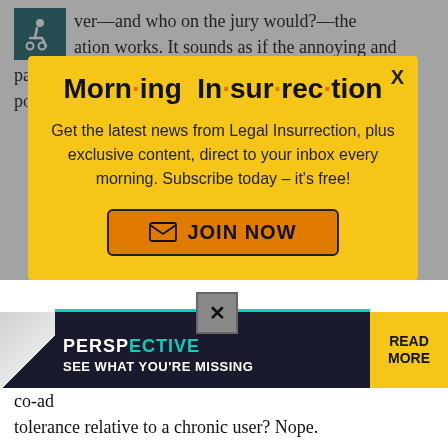ver—and who on the jury would?—the ation works. It sounds as if the annoying and patronizing doctor said that Floyd's health couldn't have pooped the bed for reasons other than
[Figure (screenshot): Modal popup overlay with yellow background. Title reads 'Morning Insurrection' with orange dots between syllables. Body text: 'Get the latest news from Legal Insurrection, plus exclusive content, direct to your inbox every morning. Subscribe today – it's free!' Orange JOIN NOW button with envelope icon. X close button in top right.]
considerable period of time til a couple of weeks prior his co-addiction tolerance relative to a chronic user? Nope.
[Figure (screenshot): The Perspective ad banner at bottom. Dark background with teal accent. Text reads 'THE PERSPECTIVE' with mirrored letters effect and 'SEE WHAT YOU'RE MISSING'. Yellow READ MORE button on right.]